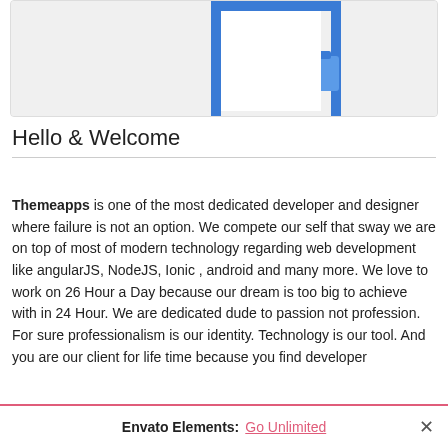[Figure (illustration): Partial illustration showing legs of a person in blue pants and black shoes, standing near a blue door/frame, on a light gray background panel.]
Hello & Welcome
Themeapps is one of the most dedicated developer and designer where failure is not an option. We compete our self that sway we are on top of most of modern technology regarding web development like angularJS, NodeJS, Ionic , android and many more. We love to work on 26 Hour a Day because our dream is too big to achieve with in 24 Hour. We are dedicated dude to passion not profession. For sure professionalism is our identity. Technology is our tool. And you are our client for life time because you find developer
Envato Elements: Go Unlimited ×